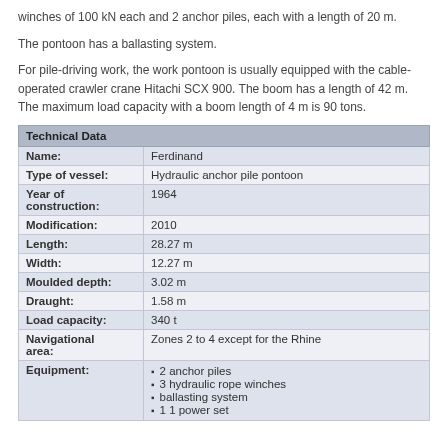winches of 100 kN each and 2 anchor piles, each with a length of 20 m.
The pontoon has a ballasting system.
For pile-driving work, the work pontoon is usually equipped with the cable-operated crawler crane Hitachi SCX 900. The boom has a length of 42 m. The maximum load capacity with a boom length of 4 m is 90 tons.
| Technical Data |  |
| --- | --- |
| Name: | Ferdinand |
| Type of vessel: | Hydraulic anchor pile pontoon |
| Year of construction: | 1964 |
| Modification: | 2010 |
| Length: | 28.27 m |
| Width: | 12.27 m |
| Moulded depth: | 3.02 m |
| Draught: | 1.58 m |
| Load capacity: | 340 t |
| Navigational area: | Zones 2 to 4 except for the Rhine |
| Equipment: | 2 anchor piles
3 hydraulic rope winches
ballasting system
1 1 power set |